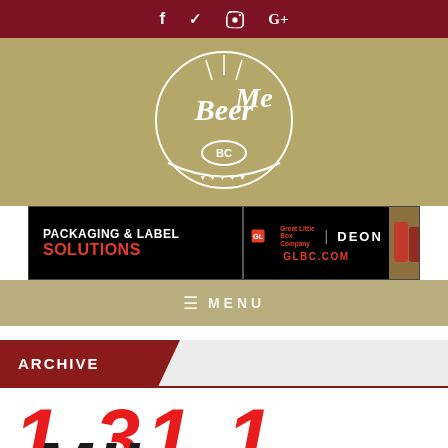Social media icons: f (Facebook), Twitter, Instagram, G+ (Google Plus)
[Figure (logo): Beer Me BC logo — white script lettering on tan/khaki background with wheat and barrel circular emblem]
[Figure (infographic): Ad banner: PACKAGING & LABEL SOLUTIONS — Great Little Box Company | DEON — GLBC.COM — with product images on right]
≡ MENU
ARCHIVE
[Figure (logo): Large red italic stylized text logo partially visible at bottom of page]